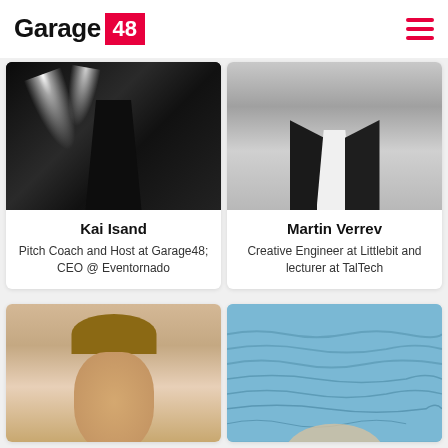[Figure (logo): Garage 48 logo - black text 'Garage' with pink/red box containing white '48']
[Figure (photo): Black and white photo of person on dark stage with spotlights]
Kai Isand
Pitch Coach and Host at Garage48; CEO @ Eventornado
[Figure (photo): Black and white photo of person in dark jacket and white shirt]
Martin Verrev
Creative Engineer at Littlebit and lecturer at TalTech
[Figure (photo): Color photo of person with light brown hair, outdoor stone background]
[Figure (photo): Color photo with blue water/ocean background, partial person visible]